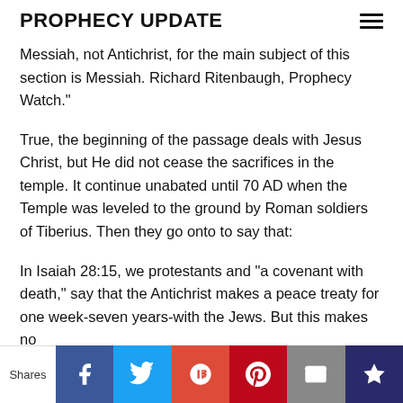PROPHECY UPDATE
Messiah, not Antichrist, for the main subject of this section is Messiah. Richard Ritenbaugh, Prophecy Watch."
True, the beginning of the passage deals with Jesus Christ, but He did not cease the sacrifices in the temple. It continue unabated until 70 AD when the Temple was leveled to the ground by Roman soldiers of Tiberius. Then they go onto to say that:
In Isaiah 28:15, we protestants and "a covenant with death," say that the Antichrist makes a peace treaty for one week-seven years-with the Jews. But this makes no
[Figure (other): Social sharing bar with Shares label and buttons: Facebook (blue), Twitter (light blue), Google+ (red-orange), Pinterest (dark red), Email (gray), Crown/bookmark (dark blue)]